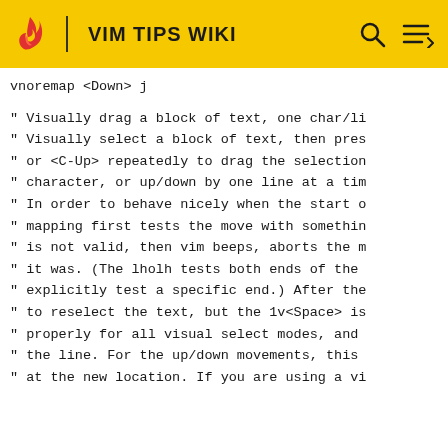VIM TIPS WIKI
vnoremap <Down> j
" Visually drag a block of text, one char/li
" Visually select a block of text, then pres
" or <C-Up> repeatedly to drag the selection
" character, or up/down by one line at a tim
" In order to behave nicely when the start o
" mapping first tests the move with somethin
" is not valid, then vim beeps, aborts the m
" it was. (The lholh tests both ends of the
" explicitly test a specific end.) After the
" to reselect the text, but the 1v<Space> is
" properly for all visual select modes, and 
" the line. For the up/down movements, this 
" at the new location. If you are using a vi